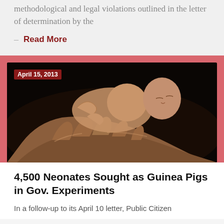methodological and legal violations outlined in the letter of determination by the
– Read More
[Figure (photo): A newborn baby sleeping in an adult's hands against a dark background, with a red date badge reading 'April 15, 2013']
4,500 Neonates Sought as Guinea Pigs in Gov. Experiments
In a follow-up to its April 10 letter, Public Citizen